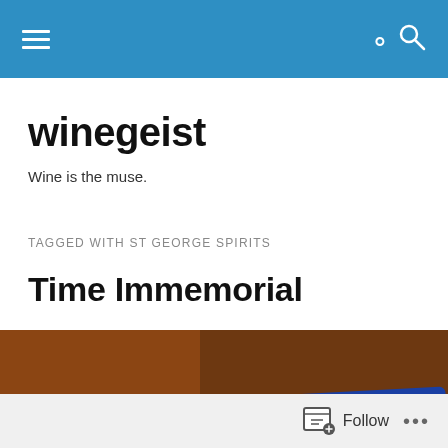winegeist — navigation bar
winegeist
Wine is the muse.
TAGGED WITH ST GEORGE SPIRITS
Time Immemorial
[Figure (photo): Blue sign reading 'Free Range Wine & Spirits' with a stylized f logo in a circle, photographed at an angle against a brick building background.]
Follow ...